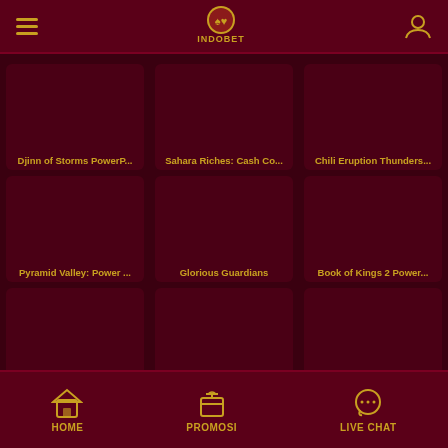INDOBET navigation header with hamburger menu, logo, and user icon
[Figure (screenshot): Game card: Djinn of Storms PowerP...]
[Figure (screenshot): Game card: Sahara Riches: Cash Co...]
[Figure (screenshot): Game card: Chili Eruption Thunders...]
[Figure (screenshot): Game card: Pyramid Valley: Power ...]
[Figure (screenshot): Game card: Glorious Guardians]
[Figure (screenshot): Game card: Book of Kings 2 Power...]
HOME   PROMOSI   LIVE CHAT